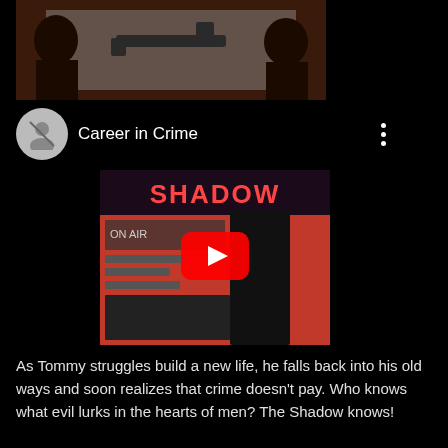[Figure (illustration): Dark brown illustration showing silhouettes of figures with a gun against a gray background]
[Figure (screenshot): YouTube video thumbnail showing a Shadow comic book cover titled 'Career in Crime' with a red YouTube play button overlay. A gray avatar icon and channel name are shown to the left, with a three-dot menu icon to the right.]
As Tommy struggles build a new life, he falls back into his old ways and soon realizes that crime doesn't pay. Who knows what evil lurks in the hearts of men? The Shadow knows!